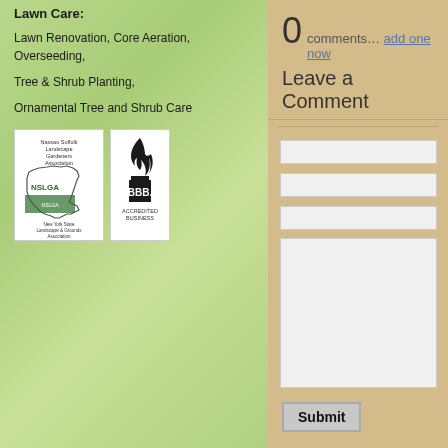Lawn Care:
Lawn Renovation, Core Aeration, Overseeding,
Tree & Shrub Planting,
Ornamental Tree and Shrub Care
[Figure (logo): Nassau Suffolk Landscape Gardeners Association and New York State Landscape & Grounds Association logos (NSLGA) combined with BBB Accredited Business logo]
0 comments… add one now
Leave a Comment
Submit